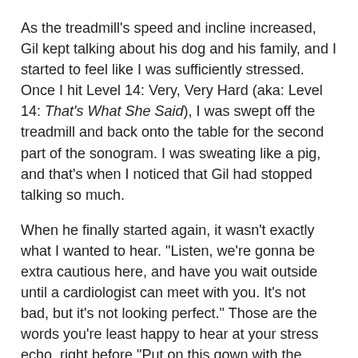As the treadmill's speed and incline increased, Gil kept talking about his dog and his family, and I started to feel like I was sufficiently stressed. Once I hit Level 14: Very, Very Hard (aka: Level 14: That's What She Said), I was swept off the treadmill and back onto the table for the second part of the sonogram. I was sweating like a pig, and that's when I noticed that Gil had stopped talking so much.
When he finally started again, it wasn't exactly what I wanted to hear. "Listen, we're gonna be extra cautious here, and have you wait outside until a cardiologist can meet with you. It's not bad, but it's not looking perfect." Those are the words you're least happy to hear at your stress echo, right before "Put on this gown with the opening in the front."